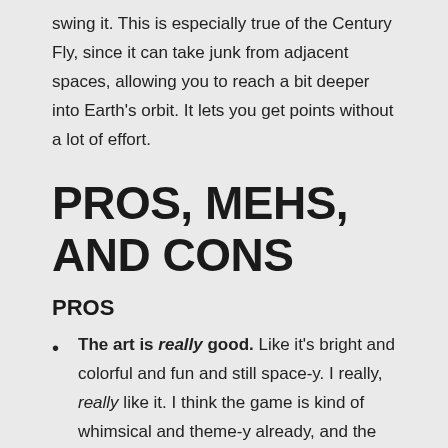swing it. This is especially true of the Century Fly, since it can take junk from adjacent spaces, allowing you to reach a bit deeper into Earth's orbit. It lets you get points without a lot of effort.
PROS, MEHS, AND CONS
PROS
The art is really good. Like it's bright and colorful and fun and still space-y. I really, really like it. I think the game is kind of whimsical and theme-y already, and the art is kind of joyful and revels in the idea of